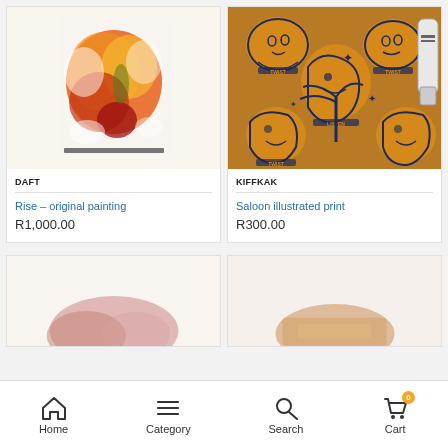[Figure (photo): Abstract colorful painting with red, orange, yellow on white background]
DAFT
Rise – original painting
R1,000.00
[Figure (photo): Yellow and navy blue illustrated print showing multiple faces with text TWIST and a clipper/razor]
KIFFKAK
Saloon illustrated print
R300.00
[Figure (photo): Partial view of artwork, pinkish tones, cropped at bottom]
[Figure (photo): Partial view of artwork, warm/orange tones, cropped at bottom]
Home  Category  Search  Cart
0